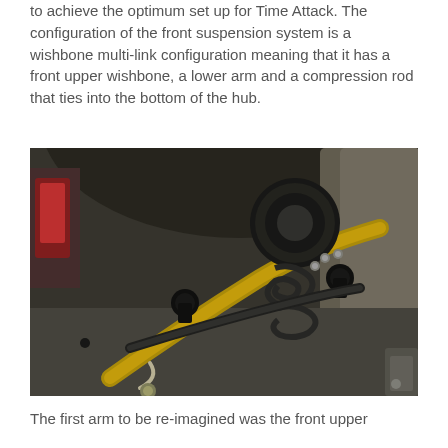to achieve the optimum set up for Time Attack. The configuration of the front suspension system is a wishbone multi-link configuration meaning that it has a front upper wishbone, a lower arm and a compression rod that ties into the bottom of the hub.
[Figure (photo): Close-up photograph of a vehicle front suspension assembly showing wishbone components, control arms, coil spring, and hub connections viewed from beneath the wheel arch.]
The first arm to be re-imagined was the front upper